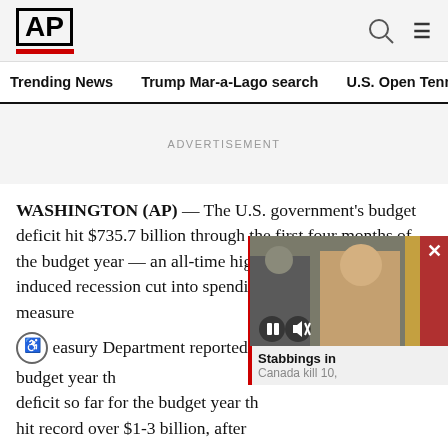AP
Trending News   Trump Mar-a-Lago search   U.S. Open Tennis
ADVERTISEMENT
WASHINGTON (AP) — The U.S. government's budget deficit hit $735.7 billion through the first four months of the budget year — an all-time high — as the pandemic-induced recession cut into tax revenues and spending on COVID relief measures
[Figure (screenshot): Video player overlay showing stabbing news story with pause and mute buttons, close button, and caption 'Stabbings in Canada kill 10,']
The easury Department reported the deficit so far for the budget year th... hit record over $1-3 billion, after